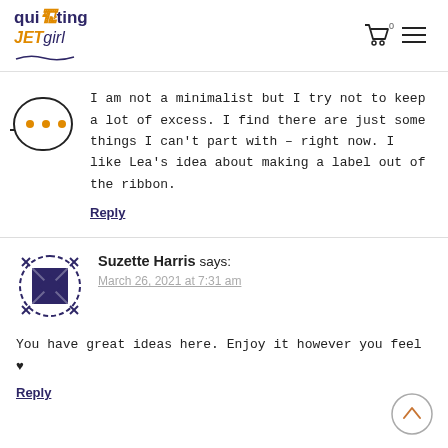quilting JETgirl [logo] 0 [cart] [menu]
I am not a minimalist but I try not to keep a lot of excess. I find there are just some things I can't part with – right now. I like Lea's idea about making a label out of the ribbon.
Reply
Suzette Harris says:
March 26, 2021 at 7:31 am
You have great ideas here. Enjoy it however you feel ♥
Reply